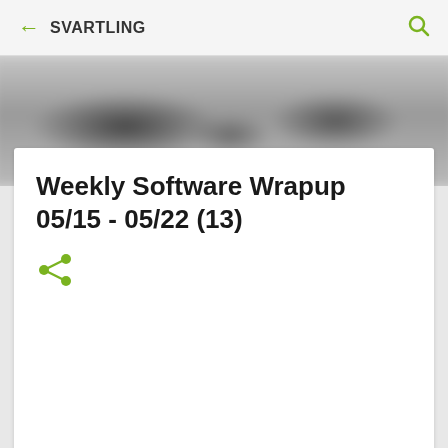← SVARTLING 🔍
[Figure (photo): Blurred background image visible behind the article card]
Weekly Software Wrapup 05/15 - 05/22 (13)
[Figure (other): Share icon (green less-than style share symbol)]